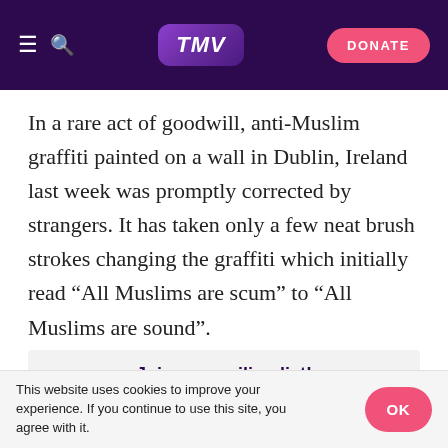TMV | DONATE
In a rare act of goodwill, anti-Muslim graffiti painted on a wall in Dublin, Ireland last week was promptly corrected by strangers. It has taken only a few neat brush strokes changing the graffiti which initially read “All Muslims are scum” to “All Muslims are sound”.
Join our mailing list!
First name *
Email address *
This website uses cookies to improve your experience. If you continue to use this site, you agree with it.